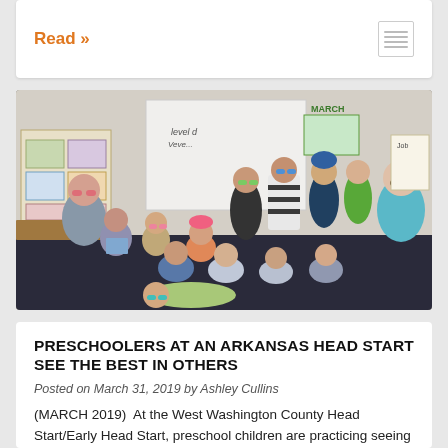Read »
[Figure (photo): A classroom photo of preschool children and two adults wearing colorful novelty glasses, posing together in a Head Start classroom decorated with student work. A whiteboard is visible in the background with a March calendar.]
PRESCHOOLERS AT AN ARKANSAS HEAD START SEE THE BEST IN OTHERS
Posted on March 31, 2019 by Ashley Cullins
(MARCH 2019)  At the West Washington County Head Start/Early Head Start, preschool children are practicing seeing the best in others with a little help from Shubert and